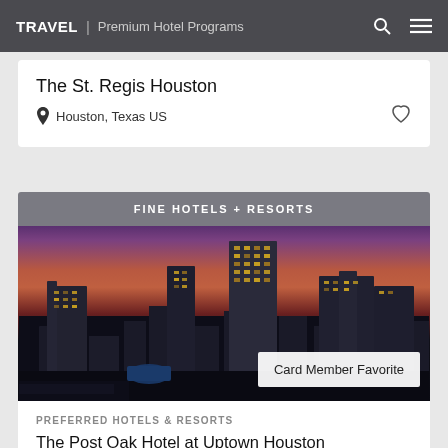TRAVEL | Premium Hotel Programs
The St. Regis Houston
Houston, Texas US
FINE HOTELS + RESORTS
[Figure (photo): Aerial nighttime photo of Houston city skyline at sunset with illuminated skyscrapers and pink/purple sky]
Card Member Favorite
PREFERRED HOTELS & RESORTS
The Post Oak Hotel at Uptown Houston
Houston, Texas US